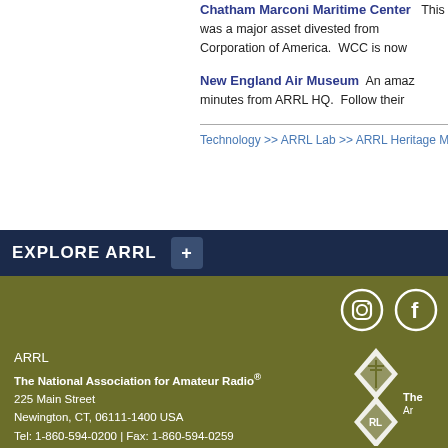Chatham Marconi Maritime Center  This was a major asset divested from Corporation of America. WCC is now
New England Air Museum  An amazingly close, minutes from ARRL HQ. Follow their
Technology >> ARRL Lab >> ARRL Heritage M
EXPLORE ARRL
ARRL
The National Association for Amateur Radio®
225 Main Street
Newington, CT, 06111-1400 USA
Tel: 1-860-594-0200 | Fax: 1-860-594-0259
Toll-free: 1-888-277-5289
hq@arrl.org